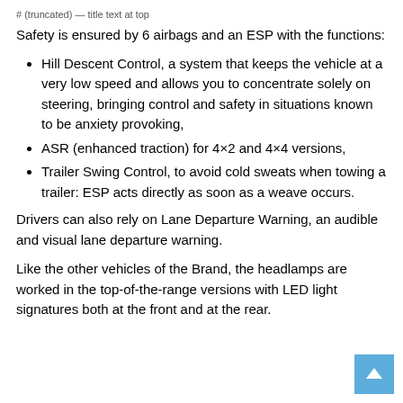# (truncated) — title text at top
Safety is ensured by 6 airbags and an ESP with the functions:
Hill Descent Control, a system that keeps the vehicle at a very low speed and allows you to concentrate solely on steering, bringing control and safety in situations known to be anxiety provoking,
ASR (enhanced traction) for 4×2 and 4×4 versions,
Trailer Swing Control, to avoid cold sweats when towing a trailer: ESP acts directly as soon as a weave occurs.
Drivers can also rely on Lane Departure Warning, an audible and visual lane departure warning.
Like the other vehicles of the Brand, the headlamps are worked in the top-of-the-range versions with LED light signatures both at the front and at the rear.